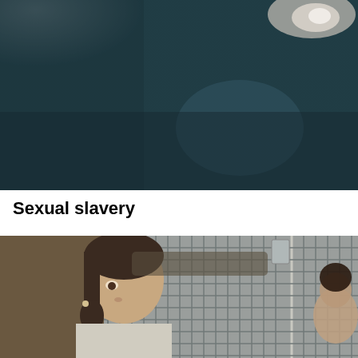[Figure (photo): Dark blurry photograph with dark teal/grey tones and a bright light spot in the upper right area]
Sexual slavery
[Figure (photo): Photo of a young woman with brown hair looking to the side, standing in front of a metal cage/kennel structure with another person visible inside the cage]